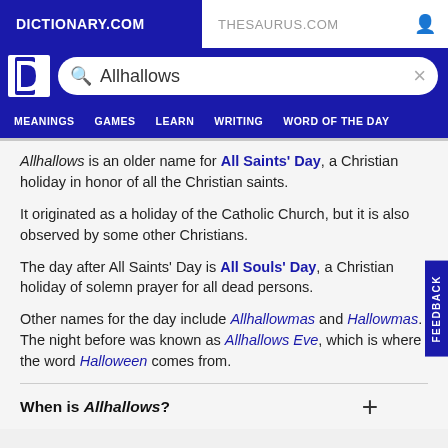DICTIONARY.COM | THESAURUS.COM
[Figure (screenshot): Dictionary.com logo with white D icon on blue background, and search bar containing 'Allhallows']
MEANINGS  GAMES  LEARN  WRITING  WORD OF THE DAY
Allhallows is an older name for All Saints' Day, a Christian holiday in honor of all the Christian saints.
It originated as a holiday of the Catholic Church, but it is also observed by some other Christians.
The day after All Saints' Day is All Souls' Day, a Christian holiday of solemn prayer for all dead persons.
Other names for the day include Allhallowmas and Hallowmas. The night before was known as Allhallows Eve, which is where the word Halloween comes from.
When is Allhallows?